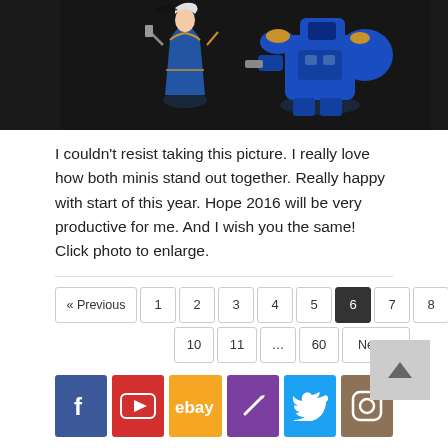[Figure (photo): Two painted miniature figurines — a female character in blue dress with gold accents and a large blue mechanical/robotic creature — photographed against a dark background]
I couldn't resist taking this picture. I really love how both minis stand out together. Really happy with start of this year. Hope 2016 will be very productive for me. And I wish you the same! Click photo to enlarge.
Pagination: « Previous 1 2 3 4 5 6 (current) 7 8 9 10 11 ... 60 Next »
[Figure (infographic): Social media icons row: Facebook, YouTube, eBay, a brush/knife icon (purple), Twitter, Instagram]
Categories